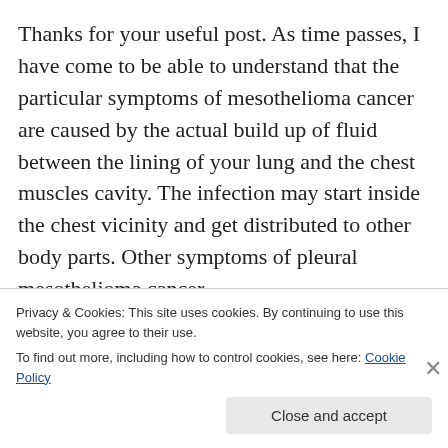Thanks for your useful post. As time passes, I have come to be able to understand that the particular symptoms of mesothelioma cancer are caused by the actual build up of fluid between the lining of your lung and the chest muscles cavity. The infection may start inside the chest vicinity and get distributed to other body parts. Other symptoms of pleural mesothelioma cancer
Privacy & Cookies: This site uses cookies. By continuing to use this website, you agree to their use.
To find out more, including how to control cookies, see here: Cookie Policy